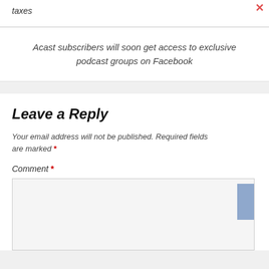taxes
Acast subscribers will soon get access to exclusive podcast groups on Facebook
Leave a Reply
Your email address will not be published. Required fields are marked *
Comment *